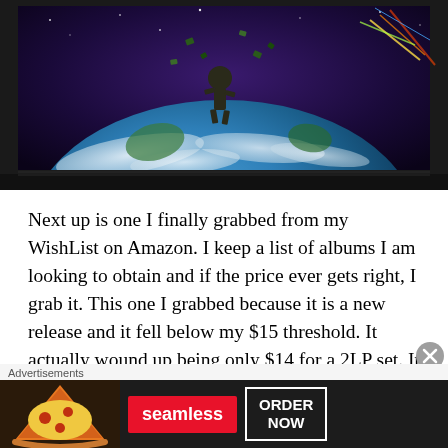[Figure (photo): Album cover photo showing Earth from space with a figure above it and scattered objects, with colorful cosmic background, displayed in a plastic sleeve with dark border]
Next up is one I finally grabbed from my WishList on Amazon.  I keep a list of albums I am looking to obtain and if the price ever gets right, I grab it.  This one I grabbed because it is a new release and it fell below my $15 threshold.  It actually wound up being only $14 for a 2LP set.  It is not my favorite Billy Idol album which is why I was waiting to grab it at the right price. It is his latest Re-Mix album Re-Vitalized.  I needed it to help complete my Billy Idol collection.  Still need a few more
[Figure (photo): Seamless food delivery advertisement banner with pizza image on the left, red Seamless logo in center, and ORDER NOW button on the right with dark background]